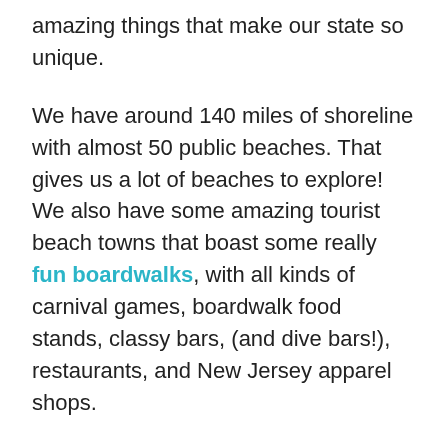amazing things that make our state so unique.
We have around 140 miles of shoreline with almost 50 public beaches. That gives us a lot of beaches to explore! We also have some amazing tourist beach towns that boast some really fun boardwalks, with all kinds of carnival games, boardwalk food stands, classy bars, (and dive bars!), restaurants, and New Jersey apparel shops.
We have lovely romantic towns where couples can get lost like the outrageously unbelievably beautiful Cape May. We have modest towns which have been voted the best places to live in NJ like Plainsboro NJ. This little town of Plainsboro has an amazing diversity of cultural four-star and five-star restaurants.